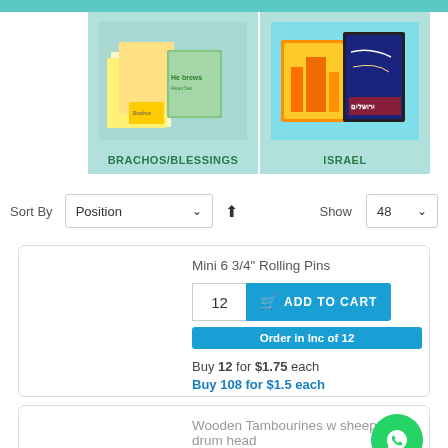[Figure (photo): Category thumbnail: Brachos/Blessings - educational books and activity sets on teal background]
BRACHOS/BLESSINGS
[Figure (photo): Category thumbnail: Israel - scratch art book with Jerusalem imagery on teal background]
ISRAEL
Sort By  Position  ↑  Show  48
Mini 6 3/4" Rolling Pins
12  ADD TO CART
Order in Inc of 12
Buy 12 for $1.75 each
Buy 108 for $1.5 each
Wooden Tambourines w sheepskin drum head
VIEW OPTIONS